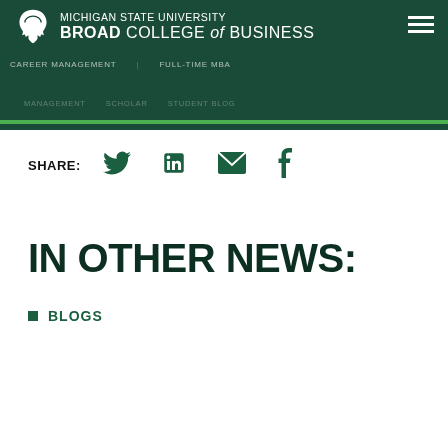Michigan State University Broad College of Business
SHARE:
[Figure (screenshot): Building interior photo showing escalators and modern architecture]
IN OTHER NEWS:
BLOGS